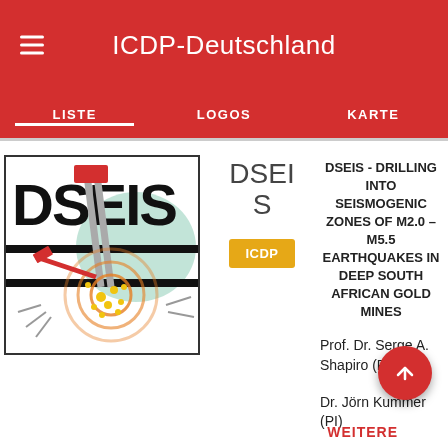ICDP-Deutschland
LISTE | LOGOS | KARTE
[Figure (logo): DSEIS project logo showing drilling into seismogenic zones with colorful illustration]
DSEIS
ICDP
DSEIS - DRILLING INTO SEISMOGENIC ZONES OF M2.0 – M5.5 EARTHQUAKES IN DEEP SOUTH AFRICAN GOLD MINES
Prof. Dr. Serge A. Shapiro (PI)
Dr. Jörn Kummer (PI)
WEITERE